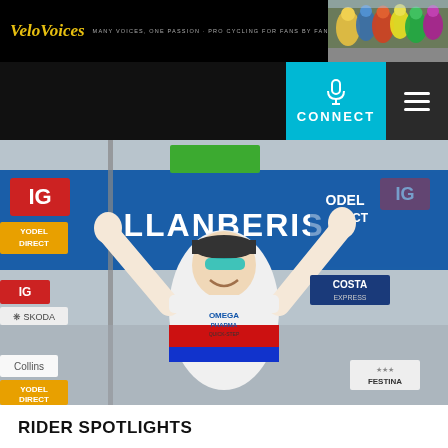VeloVoices — MANY VOICES, ONE PASSION · PRO CYCLING FOR FANS BY FANS
[Figure (screenshot): VeloVoices website header with logo, tagline, cycling race photo on right, CONNECT button and hamburger menu]
[Figure (photo): Cyclist in Omega Pharma Quick-Step jersey with British champion stripes celebrating victory at Llanberis finish line with arms raised]
RIDER SPOTLIGHTS